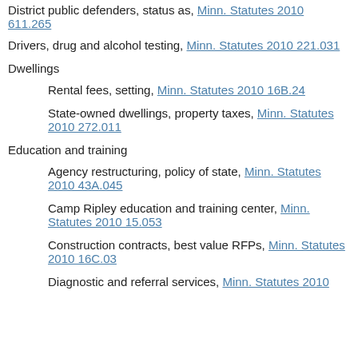District public defenders, status as, Minn. Statutes 2010 611.265
Drivers, drug and alcohol testing, Minn. Statutes 2010 221.031
Dwellings
Rental fees, setting, Minn. Statutes 2010 16B.24
State-owned dwellings, property taxes, Minn. Statutes 2010 272.011
Education and training
Agency restructuring, policy of state, Minn. Statutes 2010 43A.045
Camp Ripley education and training center, Minn. Statutes 2010 15.053
Construction contracts, best value RFPs, Minn. Statutes 2010 16C.03
Diagnostic and referral services, Minn. Statutes 2010